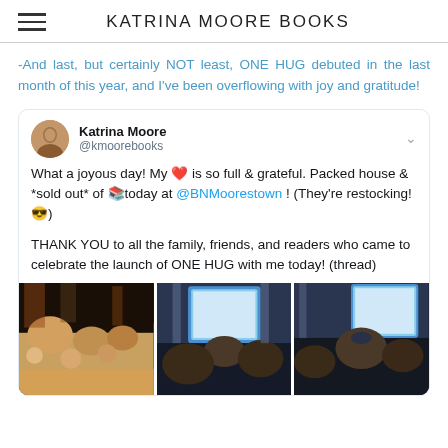KATRINA MOORE BOOKS
-And last, but certainly NOT least, ONE HUG debuted in the last month of this year, and I've been overflowing with joy and gratitude!
[Figure (screenshot): Embedded tweet from Katrina Moore (@kmoorebooks) saying: What a joyous day! My ❤️ is so full & grateful. Packed house & *sold out* of 📚today at @BNMoorestown ! (They're restocking!😎)

THANK YOU to all the family, friends, and readers who came to celebrate the launch of ONE HUG with me today! (thread). Three photos of a bookstore event are shown at the bottom.]